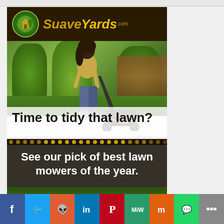[Figure (illustration): SuaveYards.com advertisement banner showing a woman pushing a lawn mower in a garden with hedges and a house in the background. Text overlay reads 'Time to tidy that lawn? See our pick of best lawn mowers of the year.' with the SuaveYards.com logo at top.]
[Figure (infographic): Social media sharing bar at bottom with icons for Facebook, Twitter, Reddit, LinkedIn, Pinterest, MeWe, Mix, WhatsApp, and a share/more button.]